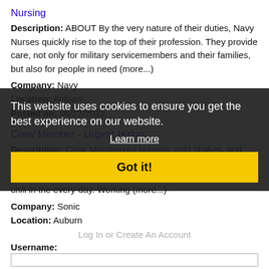Nursing
Description: ABOUT By the very nature of their duties, Navy Nurses quickly rise to the top of their profession. They provide care, not only for military servicemembers and their families, but also for people in need (more...)
Company: Navy
Location: Auburn
Posted on: 08/22/2022
Crew Member - Urgent Hiring
Description: Crew MemberHot burgers, cold shakes, and little moments of magic right in the neighborhood. At SONIC, we do things a little differently. We find the fun, the moment of chill in the every-day. Working (more...)
Company: Sonic
Location: Auburn
Posted on: 08/22/2022
Loading more jobs...
This website uses cookies to ensure you get the best experience on our website.
Learn more
Got it!
Log In or Create An Account
Username: